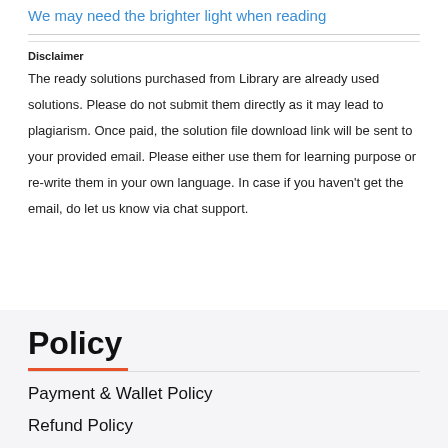We may need the brighter light when reading
Disclaimer
The ready solutions purchased from Library are already used solutions. Please do not submit them directly as it may lead to plagiarism. Once paid, the solution file download link will be sent to your provided email. Please either use them for learning purpose or re-write them in your own language. In case if you haven't get the email, do let us know via chat support.
Policy
Payment & Wallet Policy
Refund Policy